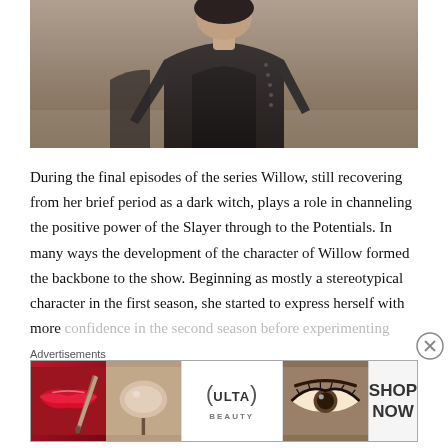[Figure (photo): Partial photo of a person wearing a dark jacket/cardigan, upper body visible, warm brownish background suggesting outdoor setting.]
During the final episodes of the series Willow, still recovering from her brief period as a dark witch, plays a role in channeling the positive power of the Slayer through to the Potentials. In many ways the development of the character of Willow formed the backbone to the show. Beginning as mostly a stereotypical character in the first season, she started to express herself with more confidence in the second season before experimenting
Advertisements
[Figure (photo): ULTA Beauty advertisement banner showing close-up beauty/makeup images including lips, makeup brush, eye makeup, ULTA logo, and eye/brow closeup, with SHOP NOW call to action.]